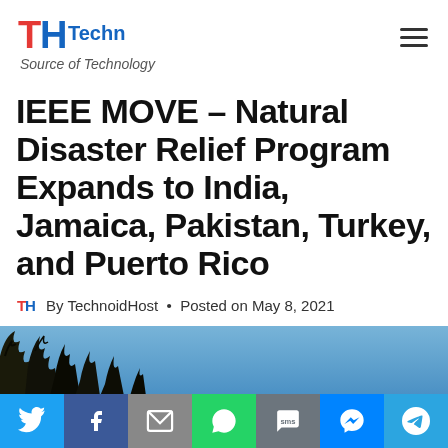TechnoidHost — Source of Technology
IEEE MOVE – Natural Disaster Relief Program Expands to India, Jamaica, Pakistan, Turkey, and Puerto Rico
By TechnoidHost • Posted on May 8, 2021
[Figure (photo): Outdoor photo showing tree branches against a blue sky, partially visible at the bottom of the page]
[Figure (infographic): Social sharing bar with buttons for Twitter, Facebook, Email, WhatsApp, SMS, Messenger, and Telegram]